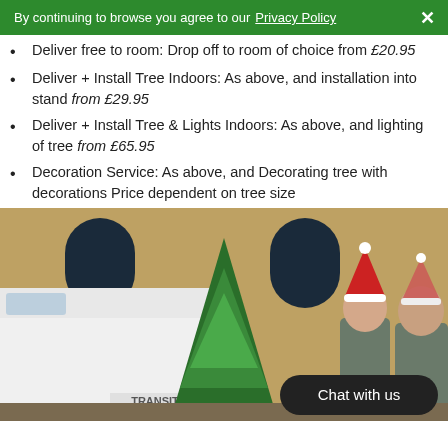By continuing to browse you agree to our Privacy Policy ×
Deliver free to room: Drop off to room of choice from £20.95
Deliver + Install Tree Indoors: As above, and installation into stand from £29.95
Deliver + Install Tree & Lights Indoors: As above, and lighting of tree from £65.95
Decoration Service: As above, and Decorating tree with decorations Price dependent on tree size
[Figure (photo): Two people in winter gear wearing Santa hats holding a Christmas tree in front of a brick building and a white Transit van. A 'Chat with us' button overlay is visible in the bottom right.]